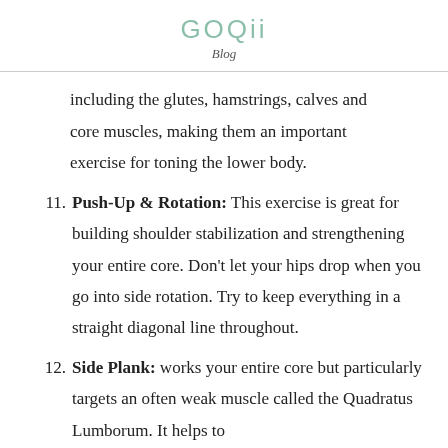GOQii
Blog
including the glutes, hamstrings, calves and core muscles, making them an important exercise for toning the lower body.
11. Push-Up & Rotation: This exercise is great for building shoulder stabilization and strengthening your entire core. Don't let your hips drop when you go into side rotation. Try to keep everything in a straight diagonal line throughout.
12. Side Plank: works your entire core but particularly targets an often weak muscle called the Quadratus Lumborum. It helps to